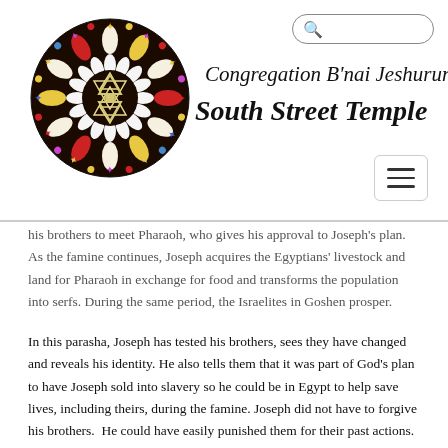[Figure (logo): Circular stained glass window rosette logo with Star of David in center, colorful floral and star pattern]
Congregation B'nai Jeshurun South Street Temple
his brothers to meet Pharaoh, who gives his approval to Joseph's plan. As the famine continues, Joseph acquires the Egyptians' livestock and land for Pharaoh in exchange for food and transforms the population into serfs. During the same period, the Israelites in Goshen prosper.
In this parasha, Joseph has tested his brothers, sees they have changed and reveals his identity. He also tells them that it was part of God's plan to have Joseph sold into slavery so he could be in Egypt to help save lives, including theirs, during the famine. Joseph did not have to forgive his brothers.  He could have easily punished them for their past actions. He could have dwelt on family skirmishes and